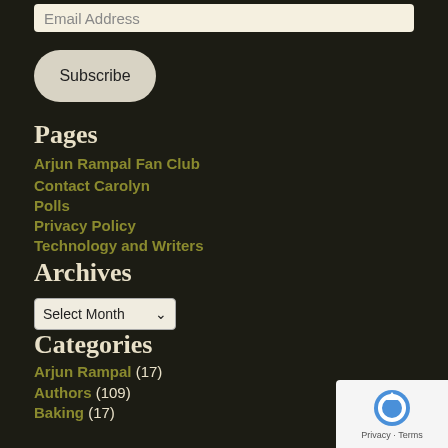Email Address
Subscribe
Pages
Arjun Rampal Fan Club
Contact Carolyn
Polls
Privacy Policy
Technology and Writers
Archives
Select Month
Categories
Arjun Rampal (17)
Authors (109)
Baking (17)
Blogging (28)
Book Reviews (50)
Books (437)
Boucheron (3)